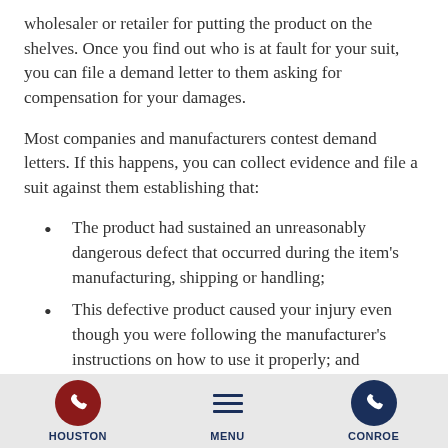wholesaler or retailer for putting the product on the shelves. Once you find out who is at fault for your suit, you can file a demand letter to them asking for compensation for your damages.
Most companies and manufacturers contest demand letters. If this happens, you can collect evidence and file a suit against them establishing that:
The product had sustained an unreasonably dangerous defect that occurred during the item's manufacturing, shipping or handling;
This defective product caused your injury even though you were following the manufacturer's instructions on how to use it properly; and
You suffered emotionally, physically, and financially...
HOUSTON   MENU   CONROE